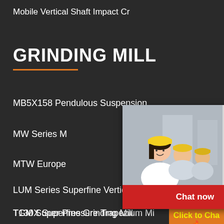Mobile Vertical Shaft Impact Cr
GRINDING MILL
MB5X158 Pendulous Suspension
MW Series M
MTW Europe
LUM Series Superfine Vertical R
T130X Superfine Grinding Mill
TGM Super Pressure Trapezium Mi
[Figure (screenshot): Live chat popup overlay with photo of smiling woman in hard hat and coworkers, LIVE CHAT heading in red, 'Click for a Free Consultation' subtext, Chat now (red) and Chat later (dark) buttons]
[Figure (infographic): Orange advertisement panel on right side showing industrial grinding mill machinery images, 'Enjoy 3% discount' yellow banner, 'Click to Chat' with flame icon, and 'Enquiry' button]